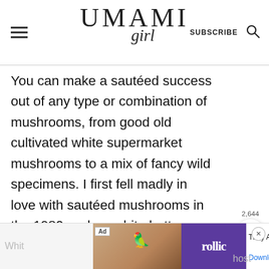UMAMI girl — SUBSCRIBE
You can make a sautéed success out of any type or combination of mushrooms, from good old cultivated white supermarket mushrooms to a mix of fancy wild specimens. I first fell madly in love with sautéed mushrooms in the 1980s, when white button mushrooms were the only available kind. These days we tend to go a little crazier.
[Figure (screenshot): Ad bar at the bottom showing 'Follic' app advertisement with text 'They Are Coming!' and a Download button]
Ad — They Are Coming! — Download